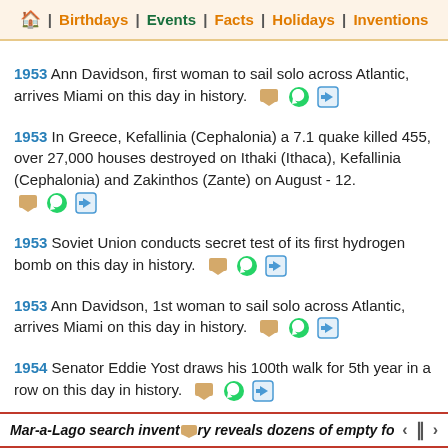🏠 | Birthdays | Events | Facts | Holidays | Inventions
1953  Ann Davidson, first woman to sail solo across Atlantic, arrives Miami on this day in history.
1953  In Greece, Kefallinia (Cephalonia) a 7.1 quake killed 455, over 27,000 houses destroyed on Ithaki (Ithaca), Kefallinia (Cephalonia) and Zakinthos (Zante) on August - 12.
1953  Soviet Union conducts secret test of its first hydrogen bomb on this day in history.
1953  Ann Davidson, 1st woman to sail solo across Atlantic, arrives Miami on this day in history.
1954  Senator Eddie Yost draws his 100th walk for 5th year in a row on this day in history.
Mar-a-Lago search inventory reveals dozens of empty folders